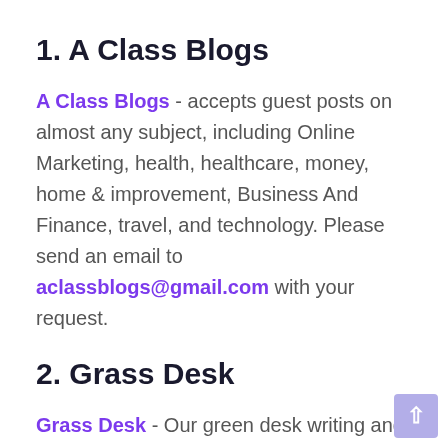1. A Class Blogs
A Class Blogs - accepts guest posts on almost any subject, including Online Marketing, health, healthcare, money, home & improvement, Business And Finance, travel, and technology. Please send an email to aclassblogs@gmail.com with your request.
2. Grass Desk
Grass Desk - Our green desk writing and editing team works extremely hard to give its readers information that is both